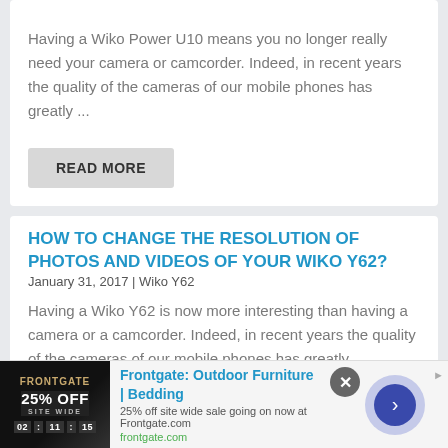Having a Wiko Power U10 means you no longer really need your camera or camcorder. Indeed, in recent years the quality of the cameras of our mobile phones has greatly ...
READ MORE
HOW TO CHANGE THE RESOLUTION OF PHOTOS AND VIDEOS OF YOUR WIKO Y62?
January 31, 2017 | Wiko Y62
Having a Wiko Y62 is now more interesting than having a camera or a camcorder. Indeed, in recent years the quality of the cameras of our mobile phones has greatly
[Figure (screenshot): Advertisement banner for Frontgate: Outdoor Furniture and Bedding, showing 25% off sitewide sale, with a close button and navigation arrow.]